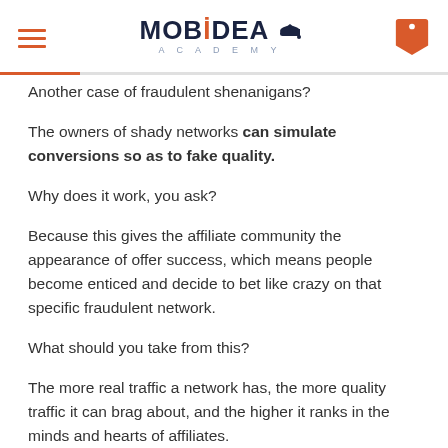MOBIDEA ACADEMY
Another case of fraudulent shenanigans?
The owners of shady networks can simulate conversions so as to fake quality.
Why does it work, you ask?
Because this gives the affiliate community the appearance of offer success, which means people become enticed and decide to bet like crazy on that specific fraudulent network.
What should you take from this?
The more real traffic a network has, the more quality traffic it can brag about, and the higher it ranks in the minds and hearts of affiliates.